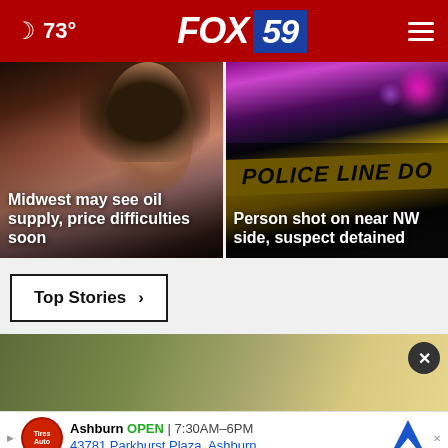FOX 59 | 73°
[Figure (photo): News card: Woman photo with overlay text 'Midwest may see oil supply, price difficulties soon']
[Figure (photo): News card: Police line do not cross tape with bokeh lights background and overlay text 'Person shot on near NW side, suspect detained']
Top Stories ›
[Figure (photo): Partial image of glasses/cups, likely related to a news story]
Ashburn OPEN | 7:30AM–6PM
43781 Parkhurst Plaza, Ashburn